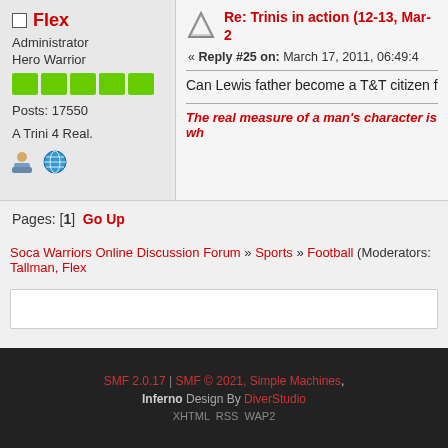Flex - Administrator, Hero Warrior, Posts: 17550, A Trini 4 Real.
Re: Trinis in action (12-13, Mar-2
« Reply #25 on: March 17, 2011, 06:49:4
Can Lewis father become a T&T citizen f
The real measure of a man's character is wh
Pages: [1]  Go Up
Soca Warriors Online Discussion Forum » Sports » Football (Moderators: Tallman, Flex
SMF 2.0.17 | SMF © 2021, Simple Machines
Inferno Design By DiverStudio
XHTML RSS WAP2